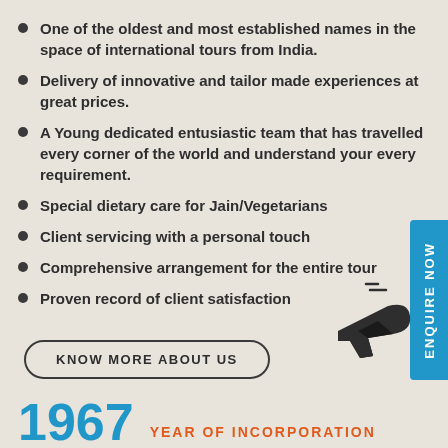One of the oldest and most established names in the space of international tours from India.
Delivery of innovative and tailor made experiences at great prices.
A Young dedicated entusiastic team that has travelled every corner of the world and understand your every requirement.
Special dietary care for Jain/Vegetarians
Client servicing with a personal touch
Comprehensive arrangement for the entire tour
Proven record of client satisfaction
KNOW MORE ABOUT US
[Figure (illustration): Airplane icon silhouette pointing right and upward]
1967
YEAR OF INCORPORATION